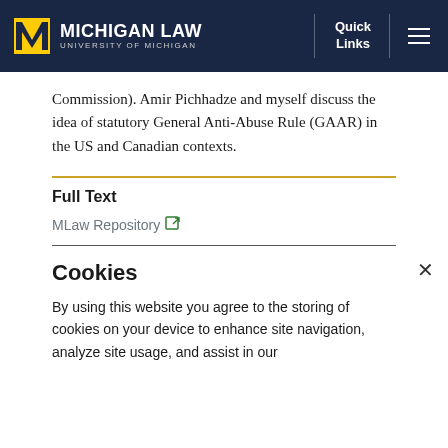Michigan Law | University of Michigan
Commission). Amir Pichhadze and myself discuss the idea of statutory General Anti-Abuse Rule (GAAR) in the US and Canadian contexts.
Full Text
MLaw Repository [external link icon]
Cookies
By using this website you agree to the storing of cookies on your device to enhance site navigation, analyze site usage, and assist in our